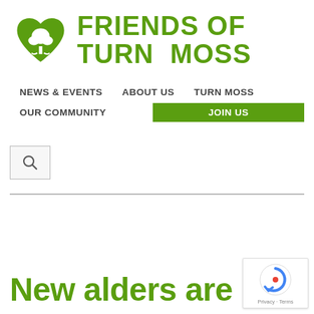[Figure (logo): Friends of Turn Moss logo: green heart shape with white tree inside, next to bold green text reading FRIENDS OF TURN MOSS]
NEWS & EVENTS   ABOUT US   TURN MOSS   OUR COMMUNITY   JOIN US
[Figure (other): Search box with magnifying glass icon]
New alers are